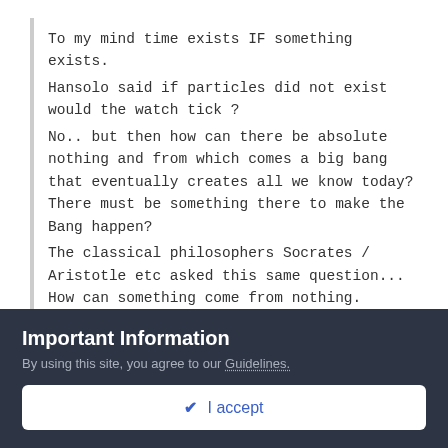To my mind time exists IF something exists.
Hansolo said if particles did not exist would the watch tick ?
No.. but then how can there be absolute nothing and from which comes a big bang that eventually creates all we know today? There must be something there to make the Bang happen?
The classical philosophers Socrates / Aristotle etc asked this same question... How can something come from nothing.
All our thoughts and ideas are bound by how this world and this universe works. We don't know if something else beyond cause-and-effect exists. That's how we see it, because that's how we are. To say that something must have caused Big Bang, is reducing the event to our terms of understanding. And what we
Important Information
By using this site, you agree to our Guidelines.
✔ I accept